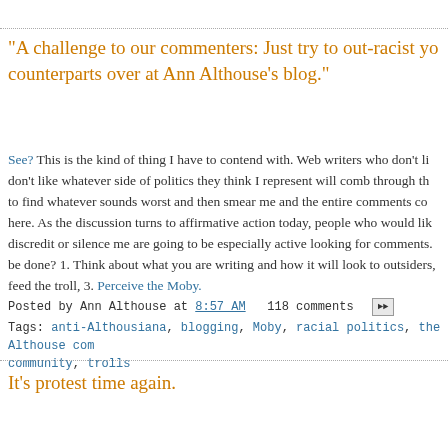"A challenge to our commenters: Just try to out-racist your counterparts over at Ann Althouse's blog."
See? This is the kind of thing I have to contend with. Web writers who don't like whatever side of politics they think I represent will comb through the comments to find whatever sounds worst and then smear me and the entire comments community here. As the discussion turns to affirmative action today, people who would like to discredit or silence me are going to be especially active looking for comments. What's to be done? 1. Think about what you are writing and how it will look to outsiders, 2. Don't feed the troll, 3. Perceive the Moby.
Posted by Ann Althouse at 8:57 AM   118 comments
Tags: anti-Althousiana, blogging, Moby, racial politics, the Althouse community, trolls
It's protest time again.